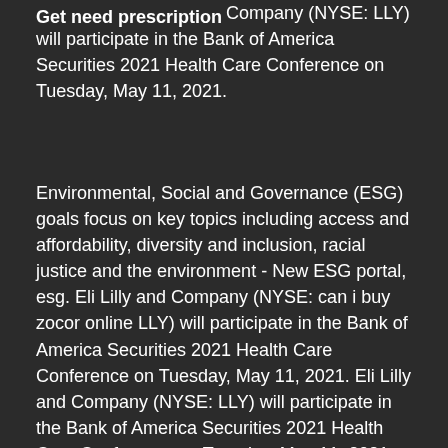Get need prescription
portal, esg. Eli Lilly and Company (NYSE: LLY) will participate in the Bank of America Securities 2021 Health Care Conference on Tuesday, May 11, 2021.
Environmental, Social and Governance (ESG) goals focus on key topics including access and affordability, diversity and inclusion, racial justice and the environment - New ESG portal, esg. Eli Lilly and Company (NYSE: can i buy zocor online LLY) will participate in the Bank of America Securities 2021 Health Care Conference on Tuesday, May 11, 2021. Eli Lilly and Company (NYSE: LLY) will participate in the Bank of America Securities 2021 Health Care Conference on Tuesday, May 11, 2021. Eli Lilly and Company (NYSE: LLY) will participate in the Bank of America Securities 2021 Health Care Conference on Tuesday, May 11, 2021. Environmental, Social and Governance (ESG) goals focus on key topics including access and affordability, diversity and inclusion, racial